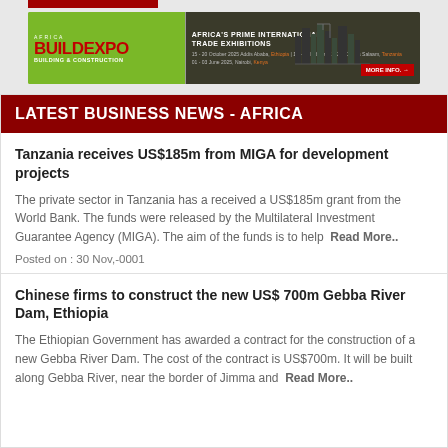[Figure (infographic): Buildexpo Africa trade exhibition banner with green and dark background, logo, dates and More Info button]
LATEST BUSINESS NEWS - AFRICA
Tanzania receives US$185m from MIGA for development projects
The private sector in Tanzania has a received a US$185m grant from the World Bank. The funds were released by the Multilateral Investment Guarantee Agency (MIGA). The aim of the funds is to help  Read More..
Posted on : 30 Nov,-0001
Chinese firms to construct the new US$ 700m Gebba River Dam, Ethiopia
The Ethiopian Government has awarded a contract for the construction of a new Gebba River Dam. The cost of the contract is US$700m. It will be built along Gebba River, near the border of Jimma and  Read More..